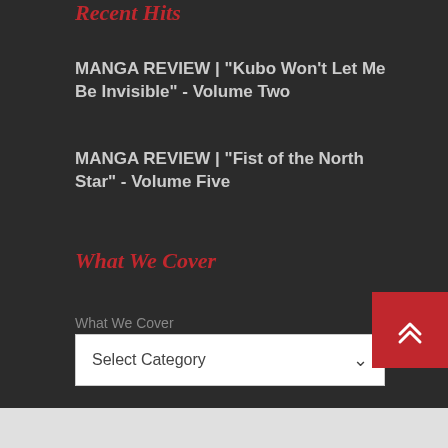Recent Hits
MANGA REVIEW | "Kubo Won't Let Me Be Invisible" - Volume Two
MANGA REVIEW | "Fist of the North Star" - Volume Five
What We Cover
What We Cover
Select Category